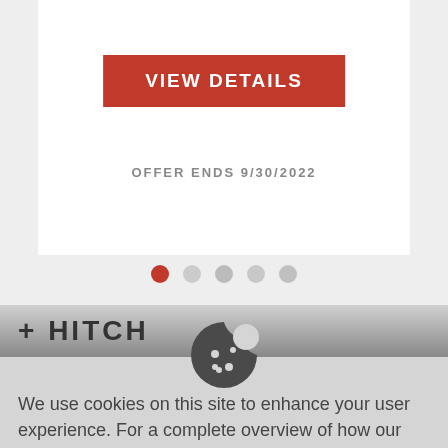[Figure (screenshot): Top portion of a webpage showing a red 'VIEW DETAILS' button and 'OFFER ENDS 9/30/2022' text with carousel navigation dots below, and a '+HITCH' navigation bar]
[Figure (illustration): Cookie icon (partially bitten cookie with dots) in dark gray]
We use cookies on this site to enhance your user experience. For a complete overview of how our site uses your cookies, please see our PRIVACY POLICY.
[Figure (screenshot): Red 'HIDE MESSAGE' button]